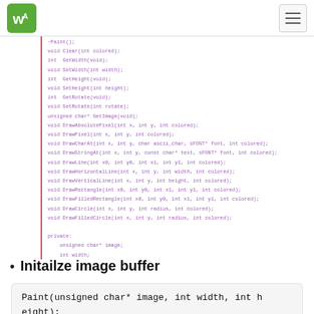WS logo and hamburger menu
[Figure (screenshot): C++ class code listing showing Paint class method declarations including ~Paint(), Clear, GetWidth, SetWidth, GetHeight, SetHeight, GetRotate, SetRotate, GetImage, DrawAbsolutePixel, DrawPixel, DrawCharAt, DrawStringAt, DrawLine, DrawHorizontalLine, DrawVerticalLine, DrawRectangle, DrawFilledRectangle, DrawCircle, DrawFilledCircle; private section with unsigned char* image, int width, int height, int rotate; closing brace]
Initailze image buffer
Paint(unsigned char* image, int width, int height);
The first parameter is image buffer, the second one is the